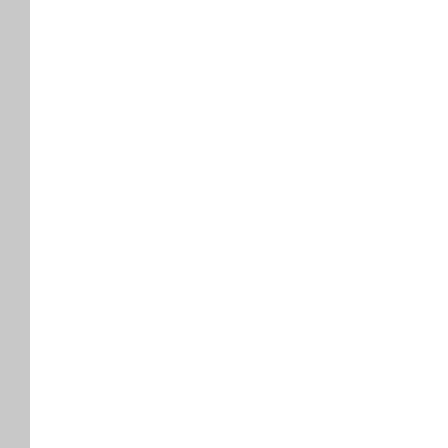[Figure (other): Empty placeholder box in upper right area]
O general AC Center D
O general AC service centre Delhi
O general AC repairing Delhi
O general AC repairs